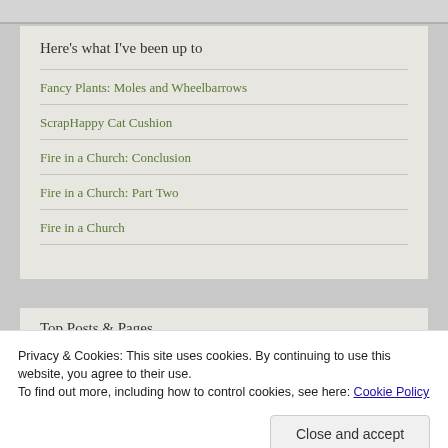Here's what I've been up to
Fancy Plants: Moles and Wheelbarrows
ScrapHappy Cat Cushion
Fire in a Church: Conclusion
Fire in a Church: Part Two
Fire in a Church
Top Posts & Pages
Privacy & Cookies: This site uses cookies. By continuing to use this website, you agree to their use. To find out more, including how to control cookies, see here: Cookie Policy
Close and accept